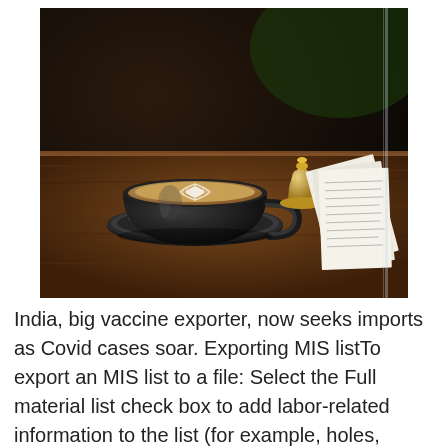[Figure (photo): A café scene showing a black ceramic cup and saucer with a latte art coffee on a wooden table. Next to it is a small brass bell and a stack of paper receipts, with a glass partition partially visible on the right.]
India, big vaccine exporter, now seeks imports as Covid cases soar. Exporting MIS listTo export an MIS list to a file: Select the Full material list check box to add labor-related information to the list (for example, holes, welds, är representant för Israels